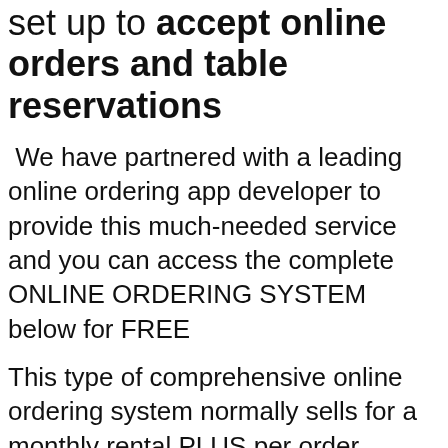set up to accept online orders and table reservations
We have partnered with a leading online ordering app developer to provide this much-needed service and you can access the complete ONLINE ORDERING SYSTEM below for FREE
This type of comprehensive online ordering system normally sells for a monthly rental PLUS per order transaction fee but today you can
Include this complete system below in your service for FREE